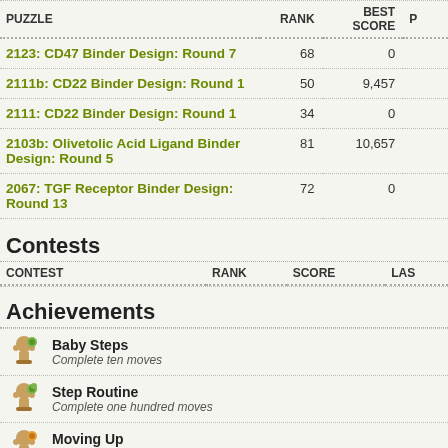| PUZZLE | RANK | BEST SCORE | P |
| --- | --- | --- | --- |
| 2123: CD47 Binder Design: Round 7 | 68 | 0 |  |
| 2111b: CD22 Binder Design: Round 1 | 50 | 9,457 |  |
| 2111: CD22 Binder Design: Round 1 | 34 | 0 |  |
| 2103b: Olivetolic Acid Ligand Binder Design: Round 5 | 81 | 10,657 |  |
| 2067: TGF Receptor Binder Design: Round 13 | 72 | 0 |  |
Contests
| CONTEST | RANK | SCORE | LAS |
| --- | --- | --- | --- |
Achievements
Baby Steps — Complete ten moves
Step Routine — Complete one hundred moves
Moving Up — Complete one thousand moves
Professional Mover — Complete ten thousand moves